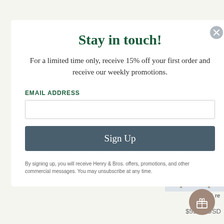Stay in touch!
For a limited time only, receive 15% off your first order and receive our weekly promotions.
EMAIL ADDRESS
Sign Up
By signing up, you will receive Henry & Bros. offers, promotions, and other commercial messages. You may unsubscribe at any time.
anket (Toddler
Red & Orange
[Figure (photo): Toddler blanket draped over a wooden ladder, featuring a gray and white geometric diamond/lattice pattern (Nantucket style)]
anket (Toddler
Nantucket
★ 1 re
$59.00 USD